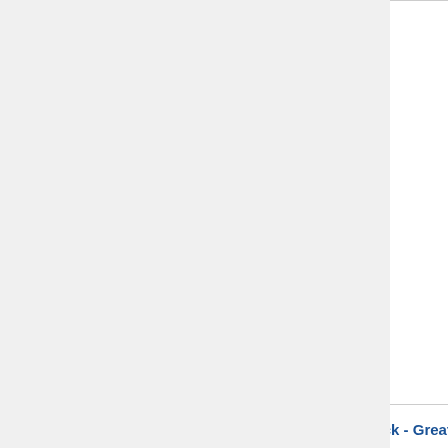| Reference | Year | Description |
| --- | --- | --- |
| Hall 2013 Biochim Biophys Acta | 2013 | Hall... Wu... resp... med... cellu... inhib... Bioc... |
| Dickinson 2013 Thesis University of Warwick - Great Britain | 2013 | Dick... DNA... War... |
| Villarroel 2013 J Trauma Acute Care Surg | 2013 | Villa... Beck... shoc... perip... mito... imm... Surg... |
|  |  | Zha... Nak... |